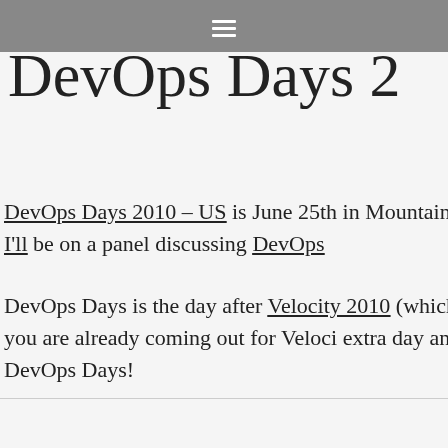≡
DevOps Days 2
DevOps Days 2010 – US is June 25th in Mountain V headquarters. I'll be on a panel discussing DevOps
DevOps Days is the day after Velocity 2010 (which make), so if you are already coming out for Veloci extra day and come to DevOps Days!
June 6, 2010   devops, meetup   N